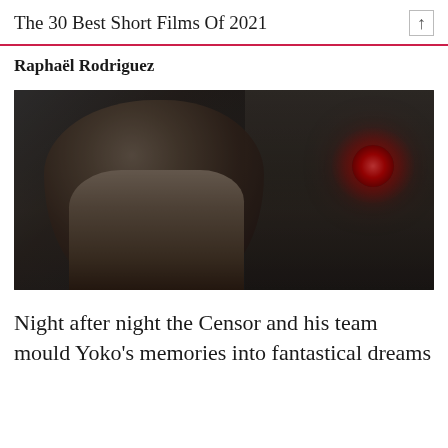The 30 Best Short Films Of 2021
Raphaël Rodriguez
[Figure (photo): Film still showing a man in a pale open-collar shirt with disheveled hair looking downward in a dark hallway, with a red light glowing on the wall to the right.]
Night after night the Censor and his team mould Yoko's memories into fantastical dreams